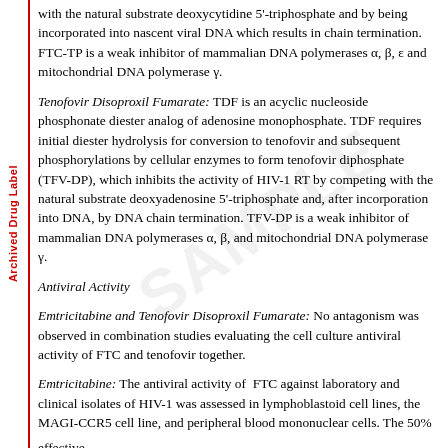with the natural substrate deoxycytidine 5'-triphosphate and by being incorporated into nascent viral DNA which results in chain termination. FTC-TP is a weak inhibitor of mammalian DNA polymerases α, β, ε and mitochondrial DNA polymerase γ.
Tenofovir Disoproxil Fumarate: TDF is an acyclic nucleoside phosphonate diester analog of adenosine monophosphate. TDF requires initial diester hydrolysis for conversion to tenofovir and subsequent phosphorylations by cellular enzymes to form tenofovir diphosphate (TFV-DP), which inhibits the activity of HIV-1 RT by competing with the natural substrate deoxyadenosine 5'-triphosphate and, after incorporation into DNA, by DNA chain termination. TFV-DP is a weak inhibitor of mammalian DNA polymerases α, β, and mitochondrial DNA polymerase γ.
Antiviral Activity
Emtricitabine and Tenofovir Disoproxil Fumarate: No antagonism was observed in combination studies evaluating the cell culture antiviral activity of FTC and tenofovir together.
Emtricitabine: The antiviral activity of FTC against laboratory and clinical isolates of HIV-1 was assessed in lymphoblastoid cell lines, the MAGI-CCR5 cell line, and peripheral blood mononuclear cells. The 50% effective...